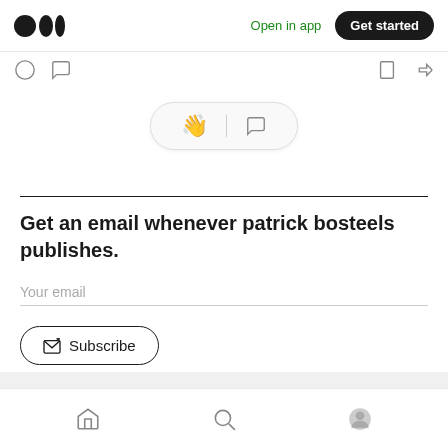Medium logo | Open in app | Get started
[Figure (screenshot): Clap and comment action pill with hand wave emoji and speech bubble icon]
Get an email whenever patrick bosteels publishes.
Your email
Subscribe
Home | Search | Profile navigation icons